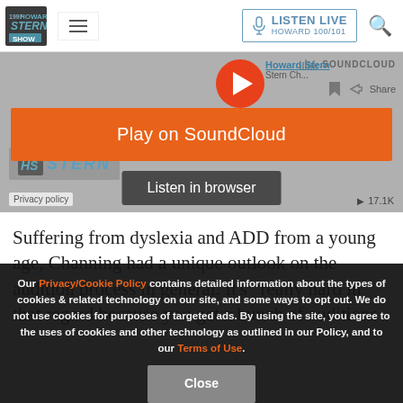Howard Stern | LISTEN LIVE HOWARD 100/101
[Figure (screenshot): SoundCloud embedded audio player for Howard Stern Show with orange Play on SoundCloud button and Listen in browser button overlay, Privacy policy label and 17.1K play count]
Suffering from dyslexia and ADD from a young age, Channing had a unique outlook on the audition process in general. It’s “really hard in that regard because you get a bunch of auditions
Our Privacy/Cookie Policy contains detailed information about the types of cookies & related technology on our site, and some ways to opt out. We do not use cookies for purposes of targeted ads. By using the site, you agree to the uses of cookies and other technology as outlined in our Policy, and to our Terms of Use.
Close